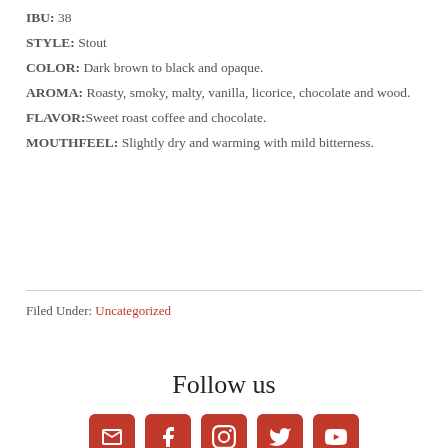IBU: 38
STYLE: Stout
COLOR: Dark brown to black and opaque.
AROMА: Roasty, smoky, malty, vanilla, licorice, chocolate and wood.
FLAVOR:Sweet roast coffee and chocolate.
MOUTHFEEL: Slightly dry and warming with mild bitterness.
Filed Under: Uncategorized
Follow us
[Figure (infographic): Five red rounded square social media icons: email (envelope), Facebook, Instagram, Twitter, YouTube]